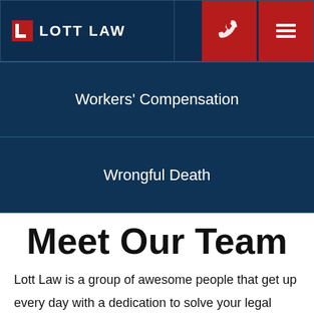[Figure (logo): Lott Law logo with red L-bracket icon and white text 'LOTT LAW' on dark navy background header, with two red icon buttons (phone and menu)]
Workers' Compensation
Wrongful Death
Meet Our Team
Lott Law is a group of awesome people that get up every day with a dedication to solve your legal problems. Injuries and divorce are